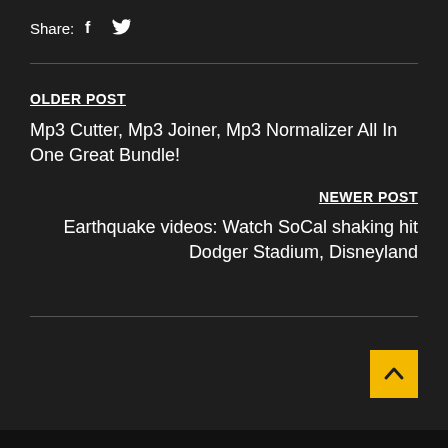Share:  f  🐦
OLDER POST
Mp3 Cutter, Mp3 Joiner, Mp3 Normalizer All In One Great Bundle!
NEWER POST
Earthquake videos: Watch SoCal shaking hit Dodger Stadium, Disneyland